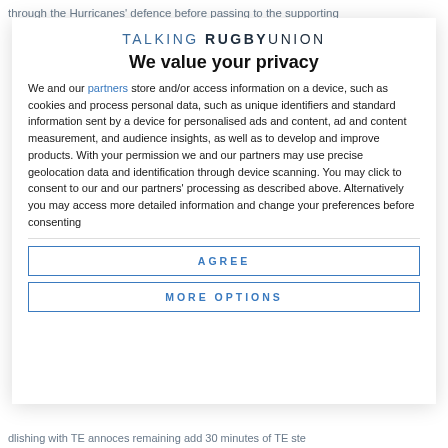through the Hurricanes' defence before passing to the supporting
[Figure (logo): Talking Rugby Union logo — stylized uppercase text 'TALKING RUGBY UNION']
We value your privacy
We and our partners store and/or access information on a device, such as cookies and process personal data, such as unique identifiers and standard information sent by a device for personalised ads and content, ad and content measurement, and audience insights, as well as to develop and improve products. With your permission we and our partners may use precise geolocation data and identification through device scanning. You may click to consent to our and our partners' processing as described above. Alternatively you may access more detailed information and change your preferences before consenting
AGREE
MORE OPTIONS
dlishing with TE annoces remaining add 30 minutes of TE ste